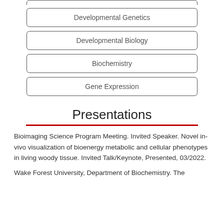Developmental Genetics
Developmental Biology
Biochemistry
Gene Expression
Presentations
Bioimaging Science Program Meeting. Invited Speaker. Novel in-vivo visualization of bioenergy metabolic and cellular phenotypes in living woody tissue. Invited Talk/Keynote, Presented, 03/2022.